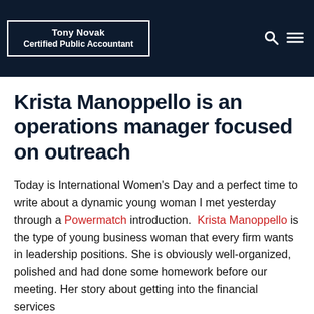Tony Novak
Certified Public Accountant
Krista Manoppello is an operations manager focused on outreach
Today is International Women's Day and a perfect time to write about a dynamic young woman I met yesterday through a Powermatch introduction. Krista Manoppello is the type of young business woman that every firm wants in leadership positions. She is obviously well-organized, polished and had done some homework before our meeting. Her story about getting into the financial services